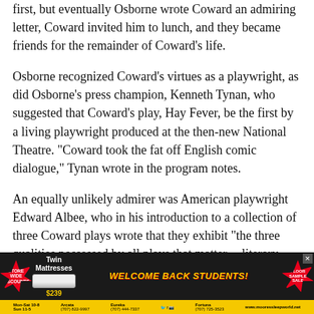first, but eventually Osborne wrote Coward an admiring letter, Coward invited him to lunch, and they became friends for the remainder of Coward's life.
Osborne recognized Coward's virtues as a playwright, as did Osborne's press champion, Kenneth Tynan, who suggested that Coward's play, Hay Fever, be the first by a living playwright produced at the then-new National Theatre. "Coward took the fat off English comic dialogue," Tynan wrote in the program notes.
An equally unlikely admirer was American playwright Edward Albee, who in his introduction to a collection of three Coward plays wrote that they exhibit "the three qualities possessed by all plays that matter -- literary excellence (by which I mean rhythm and sound), dramatic
[Figure (other): Advertisement banner for Moore's Sleep World mattress store featuring sale promotions, 'WELCOME BACK STUDENTS!' text in yellow italic font, and store location/contact information in a yellow bottom bar.]